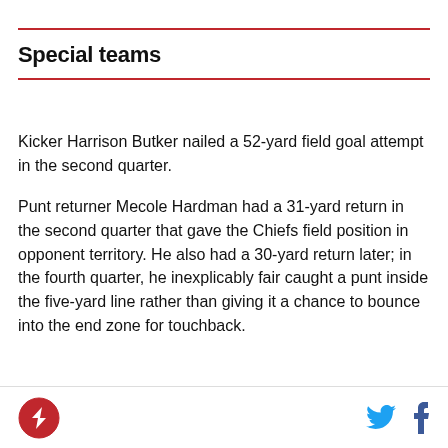Special teams
Kicker Harrison Butker nailed a 52-yard field goal attempt in the second quarter.
Punt returner Mecole Hardman had a 31-yard return in the second quarter that gave the Chiefs field position in opponent territory. He also had a 30-yard return later; in the fourth quarter, he inexplicably fair caught a punt inside the five-yard line rather than giving it a chance to bounce into the end zone for touchback.
Logo | Twitter | Facebook